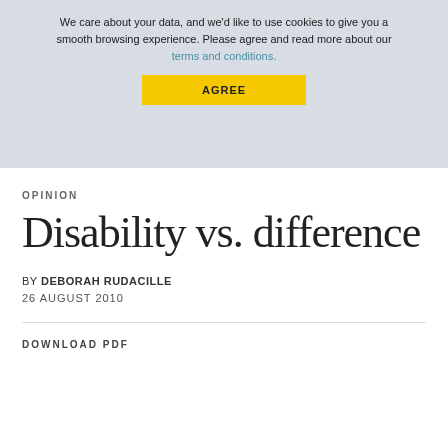We care about your data, and we'd like to use cookies to give you a smooth browsing experience. Please agree and read more about our terms and conditions.
AGREE
OPINION
SEE ALL
OPINION
Disability vs. difference
BY DEBORAH RUDACILLE
26 AUGUST 2010
DOWNLOAD PDF